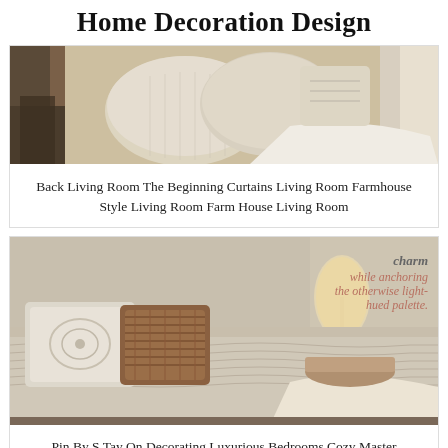Home Decoration Design
[Figure (photo): A living room/bedroom scene with cream and neutral pillows stacked on a sofa or bed, with curtains in the background]
Back Living Room The Beginning Curtains Living Room Farmhouse Style Living Room Farm House Living Room
[Figure (photo): A luxurious bedroom scene with a light tan upholstered headboard, decorative pillows including a woven brown pillow and patterned white pillow, a table lamp, and text overlay reading 'charm while anchoring the otherwise light-hued palette.']
Pin By S Tay On Decorating Luxurious Bedrooms Cozy Master Bedroom Home Decor Bedroom